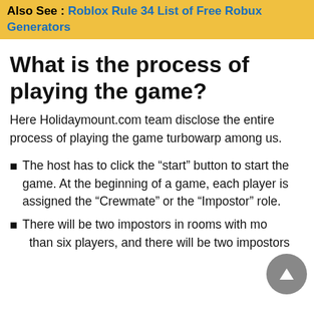Also See : Roblox Rule 34 List of Free Robux Generators
What is the process of playing the game?
Here Holidaymount.com team disclose the entire process of playing the game turbowarp among us.
The host has to click the “start” button to start the game. At the beginning of a game, each player is assigned the “Crewmate” or the “Impostor” role.
There will be two impostors in rooms with more than six players, and there will be two impostors